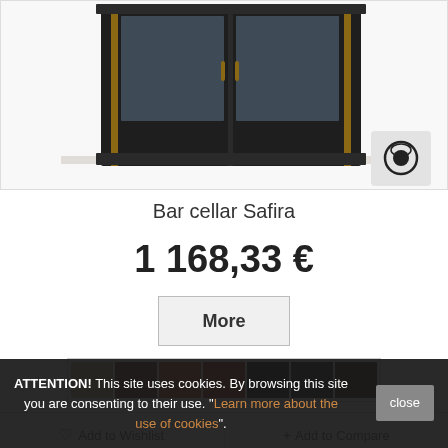[Figure (photo): Bar cellar furniture product photo showing a dark wood cabinet with glass doors and gold trim accents, displayed on white background. A camera/zoom icon appears in the bottom right corner of the image.]
Bar cellar Safira
1 168,33 €
More
[Figure (other): Seven wood color swatches ranging from light tan/blonde to dark espresso brown]
♡ Add to Wishlist
+ Add to Compare
ATTENTION! This site uses cookies. By browsing this site you are consenting to their use. "Learn more about the use of cookies".